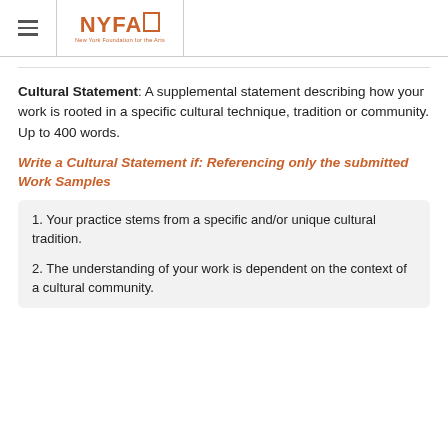NYFA — New York Foundation for the Arts
Cultural Statement: A supplemental statement describing how your work is rooted in a specific cultural technique, tradition or community. Up to 400 words.
Write a Cultural Statement if: Referencing only the submitted Work Samples
1. Your practice stems from a specific and/or unique cultural tradition.
2. The understanding of your work is dependent on the context of a cultural community.